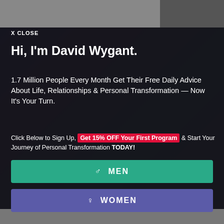X CLOSE
Hi, I'm David Wygant.
1.7 Million People Every Month Get Their Free Daily Advice About Life, Relationships & Personal Transformation — Now It's Your Turn.
Click Below to Sign Up, Get 15% OFF Your First Program & Start Your Journey of Personal Transformation TODAY!
♂ MEN
♀ WOMEN